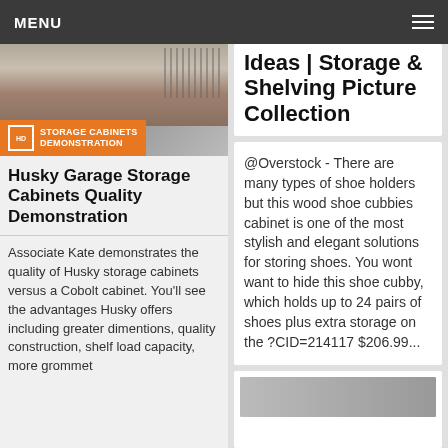MENU
[Figure (screenshot): Home Depot Storage Cabinets Demonstration video thumbnail showing garage storage setup with orange overlay banner reading STORAGE CABINETS DEMONSTRATION]
Husky Garage Storage Cabinets Quality Demonstration
Associate Kate demonstrates the quality of Husky storage cabinets versus a Cobolt cabinet. You'll see the advantages Husky offers including greater dimentions, quality construction, shelf load capacity, more grommet
Ideas | Storage & Shelving Picture Collection
@Overstock - There are many types of shoe holders but this wood shoe cubbies cabinet is one of the most stylish and elegant solutions for storing shoes. You wont want to hide this shoe cubby, which holds up to 24 pairs of shoes plus extra storage on the ?CID=214117 $206.99...
[Figure (photo): Partially visible product image at bottom right]